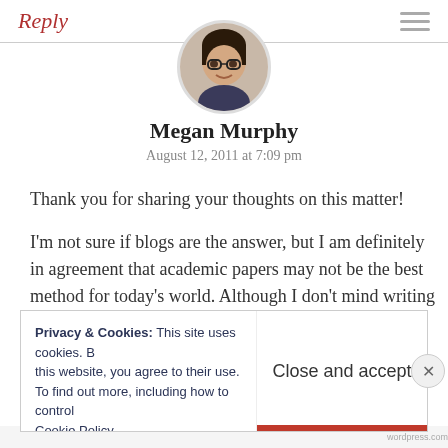Reply
[Figure (photo): Circular avatar photo of Megan Murphy, a woman with glasses smiling]
Megan Murphy
August 12, 2011 at 7:09 pm
Thank you for sharing your thoughts on this matter!
I'm not sure if blogs are the answer, but I am definitely in agreement that academic papers may not be the best method for today's world. Although I don't mind writing
Privacy & Cookies: This site uses cookies. By continuing to use this website, you agree to their use.
To find out more, including how to control cookies, see here:
Cookie Policy
Close and accept